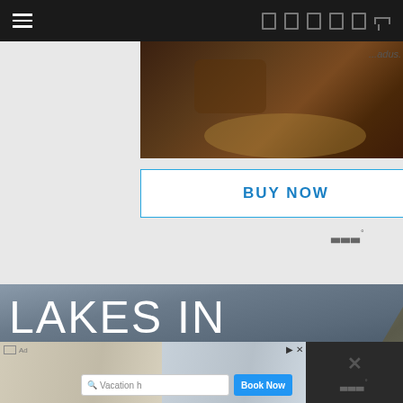Navigation bar with hamburger menu and icons
[Figure (screenshot): Advertisement card with product image (person holding a championship belt) and BUY NOW button with blue border]
LAKES IN BANFF & YOHO (THAT AREN'T LAKE
[Figure (screenshot): Bottom advertisement banner showing a vacation home rental search interface with search bar and Book Now button]